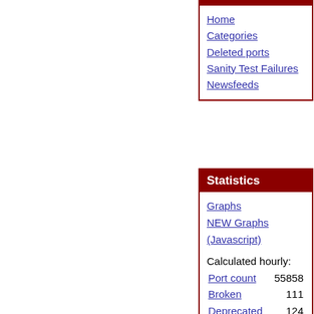Home
Categories
Deleted ports
Sanity Test Failures
Newsfeeds
Statistics
Graphs
NEW Graphs (Javascript)
Calculated hourly:
| Label | Value |
| --- | --- |
| Port count | 55858 |
| Broken | 111 |
| Deprecated | 124 |
| Ignore | 291 |
| Forbidden | 10 |
| Restricted | 2 |
| No CDROM | 0 |
| Vulnerable | 27 |
| Expired | 9 |
| Set to expire | 91 |
| Interactive | 6 |
| new 24 hours | 0 |
| new 48 hours | 4 |